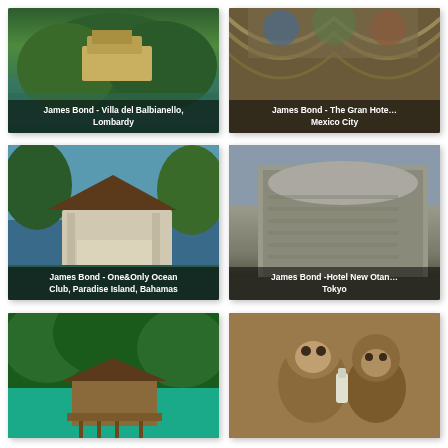[Figure (photo): James Bond - Villa del Balbianello, Lombardy. A villa on a lake surrounded by lush green trees.]
[Figure (photo): James Bond - The Gran Hotel Mexico City. Interior architectural shot with ornate arched ceiling.]
[Figure (photo): James Bond - One&Only Ocean Club, Paradise Island, Bahamas. White beach pavilion structure near the sea.]
[Figure (photo): James Bond - Hotel New Otani Tokyo. Large modern curved hotel building exterior.]
[Figure (photo): Bottom left image showing a tropical water bungalow surrounded by lush green jungle.]
[Figure (photo): Bottom right image showing monkeys.]